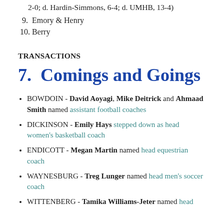2-0; d. Hardin-Simmons, 6-4; d. UMHB, 13-4)
9. Emory & Henry
10. Berry
TRANSACTIONS
7.  Comings and Goings
BOWDOIN - David Aoyagi, Mike Deitrick and Ahmaad Smith named assistant football coaches
DICKINSON - Emily Hays stepped down as head women's basketball coach
ENDICOTT - Megan Martin named head equestrian coach
WAYNESBURG - Treg Lunger named head men's soccer coach
WITTENBERG - Tamika Williams-Jeter named head